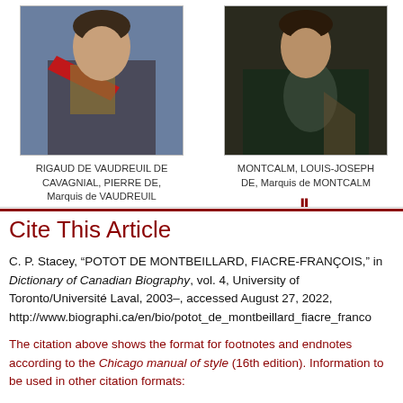[Figure (photo): Portrait painting of Rigaud de Vaudreuil de Cavagnial, Pierre de, Marquis de Vaudreuil — man in armor with red sash]
RIGAUD DE VAUDREUIL DE CAVAGNIAL, PIERRE DE, Marquis de VAUDREUIL
[Figure (photo): Portrait painting of Montcalm, Louis-Joseph de, Marquis de Montcalm — man in armor, dark clothing]
MONTCALM, LOUIS-JOSEPH DE, Marquis de MONTCALM
Cite This Article
C. P. Stacey, “POTOT DE MONTBEILLARD, FIACRE-FRANÇOIS,” in Dictionary of Canadian Biography, vol. 4, University of Toronto/Université Laval, 2003–, accessed August 27, 2022, http://www.biographi.ca/en/bio/potot_de_montbeillard_fiacre_franco
The citation above shows the format for footnotes and endnotes according to the Chicago manual of style (16th edition). Information to be used in other citation formats: